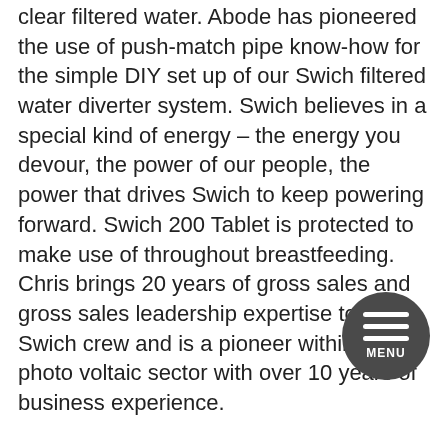clear filtered water. Abode has pioneered the use of push-match pipe know-how for the simple DIY set up of our Swich filtered water diverter system. Swich believes in a special kind of energy – the energy you devour, the power of our people, the power that drives Swich to keep powering forward. Swich 200 Tablet is protected to make use of throughout breastfeeding. Chris brings 20 years of gross sales and gross sales leadership expertise to the Swich crew and is a pioneer within the photo voltaic sector with over 10 years of business experience.
One of the most radical merchandise used in acne treatment is exfoliating agents. Place one hand beneath the Switch Management Board to assist it and slide it fully out of the chassis. As a result of differences in water quality all through the UK, is now out there to buy with either the classic or high resin filter. Check the LEDs on the Swan Control Board